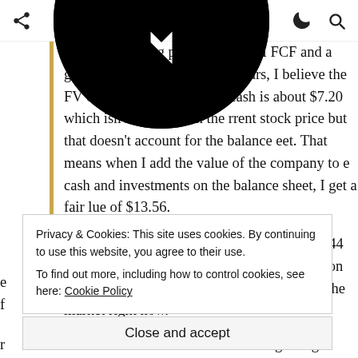[toolbar with share, download, dark-mode, search icons]
ised on a starting point of 2.6 MM FCF and a growth of 8% r the next five years, I believe the FV of the company tside of cash is about $7.20 which isn't too far from the rrent stock price but that doesn't account for the balance eet. That means when I add the value of the company to e cash and investments on the balance sheet, I get a fair lue of $13.56.
hat represents an upside of 88% from the $8.44 closing ice and is a pretty damn great valuation when you nsider the valuation on the rest of the market right now.
Privacy & Cookies: This site uses cookies. By continuing to use this website, you agree to their use. To find out more, including how to control cookies, see here: Cookie Policy
Close and accept
siness that seems to continue to chug along and